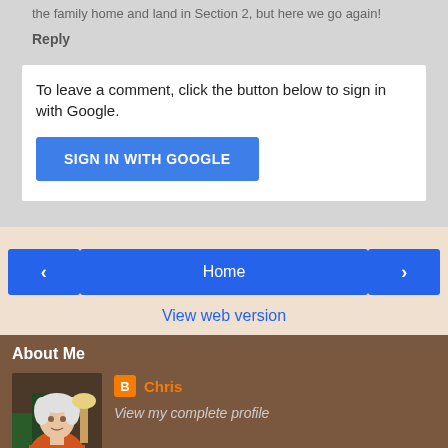the family home and land in Section 2, but here we go again!
Reply
To leave a comment, click the button below to sign in with Google.
[Figure (screenshot): SIGN IN WITH GOOGLE button]
[Figure (screenshot): Navigation bar with left arrow, Home button, right arrow, and View web version link]
About Me
[Figure (photo): Profile photo of an elderly person in an orange/red jacket]
Chris
View my complete profile
Powered by Blogger.